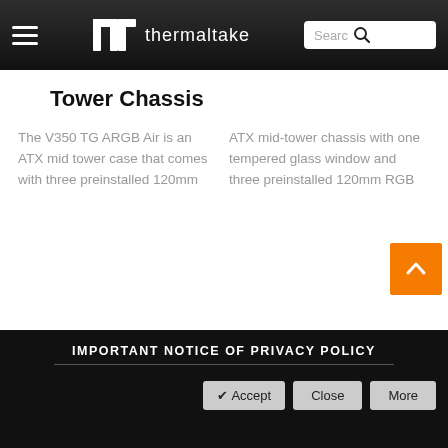Thermaltake — hamburger menu, logo, search bar
Tower Chassis
The V350 TG ARGB Air is an ATX mid tower case that comes with three preinstalled 120mm
ATX mid-tower chassis with one tempered glass window and three preinstalled 120mm RGB
[Figure (other): Scroll-to-top button (orange square with white upward arrow)]
IMPORTANT NOTICE OF PRIVACY POLICY
Accept  Close  More